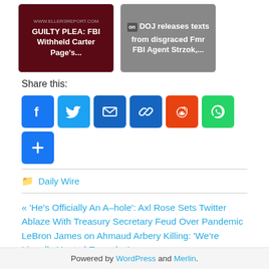[Figure (screenshot): Two article thumbnail cards: left card dark red background with text 'GUILTY PLEA: FBI Withheld Carter Page's...' and right card gray background with text 'DOJ releases texts from disgraced Fmr FBI Agent Strzok,...']
Share this:
[Figure (infographic): Social share buttons: Facebook (blue), Twitter (blue), Email (dark blue), Link (blue), Reddit (orange-red), WhatsApp (green), Share/Plus (blue)]
Daily Wire
« 'He's Officially An A–hole': Axl Rose Sets Twitter Ablaze With Treasury Secretary Feud Over Pandemic
LeBron James on Ahmaud Arbery Killing: 'We're Literally Hunted Everyday' »
Powered by WordPress and Merlin.